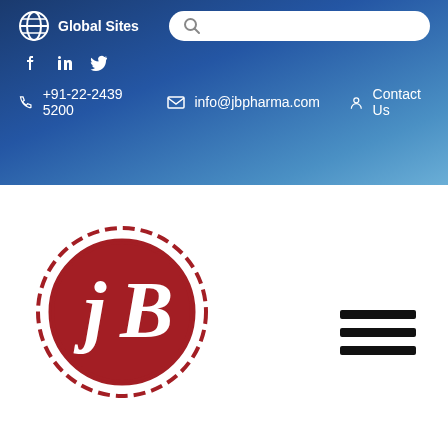Global Sites | Search | +91-22-2439 5200 | info@jbpharma.com | Contact Us
[Figure (logo): JB Pharma circular logo with stylized JB letters in red on white background with dashed outer ring]
[Figure (other): Hamburger menu icon with three horizontal black bars]